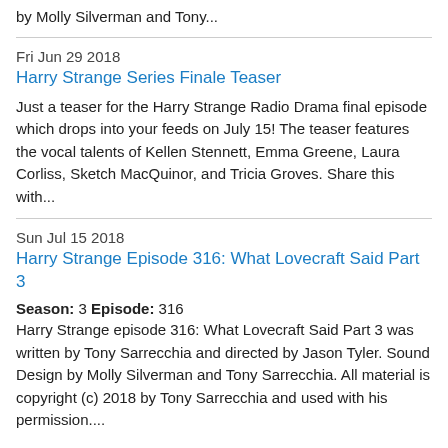by Molly Silverman and Tony...
Fri Jun 29 2018
Harry Strange Series Finale Teaser
Just a teaser for the Harry Strange Radio Drama final episode which drops into your feeds on July 15! The teaser features the vocal talents of Kellen Stennett, Emma Greene, Laura Corliss, Sketch MacQuinor, and Tricia Groves. Share this with...
Sun Jul 15 2018
Harry Strange Episode 316: What Lovecraft Said Part 3
Season: 3 Episode: 316
Harry Strange episode 316: What Lovecraft Said Part 3 was written by Tony Sarrecchia and directed by Jason Tyler. Sound Design by Molly Silverman and Tony Sarrecchia. All material is copyright (c) 2018 by Tony Sarrecchia and used with his permission....